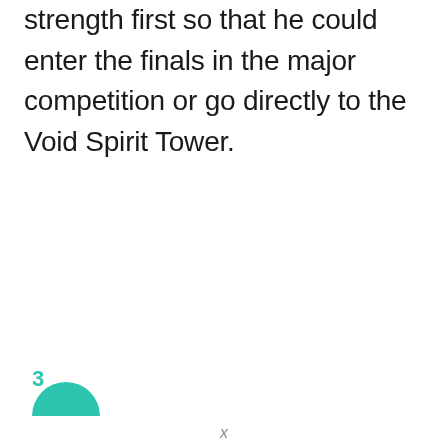strength first so that he could enter the finals in the major competition or go directly to the Void Spirit Tower.
3